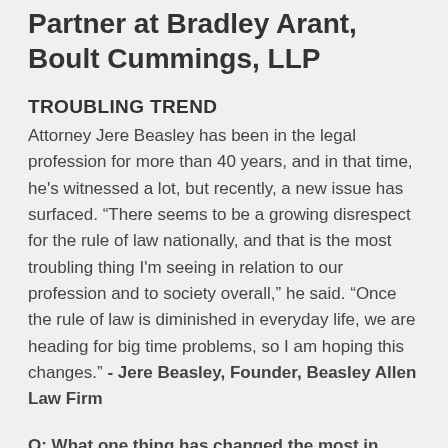Partner at Bradley Arant, Boult Cummings, LLP
TROUBLING TREND
Attorney Jere Beasley has been in the legal profession for more than 40 years, and in that time, he's witnessed a lot, but recently, a new issue has surfaced. “There seems to be a growing disrespect for the rule of law nationally, and that is the most troubling thing I'm seeing in relation to our profession and to society overall,” he said. “Once the rule of law is diminished in everyday life, we are heading for big time problems, so I am hoping this changes.” - Jere Beasley, Founder, Beasley Allen Law Firm
Q: What one thing has changed the most in